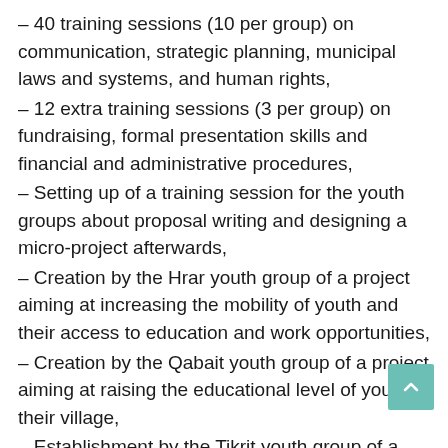– 40 training sessions (10 per group) on communication, strategic planning, municipal laws and systems, and human rights,
– 12 extra training sessions (3 per group) on fundraising, formal presentation skills and financial and administrative procedures,
– Setting up of a training session for the youth groups about proposal writing and designing a micro-project afterwards,
– Creation by the Hrar youth group of a project aiming at increasing the mobility of youth and their access to education and work opportunities,
– Creation by the Qabait youth group of a project aiming at raising the educational level of youth in their village,
– Establishment by the Tikrit youth group of a